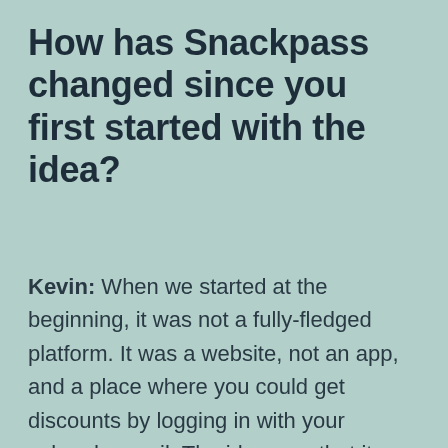How has Snackpass changed since you first started with the idea?
Kevin: When we started at the beginning, it was not a fully-fledged platform. It was a website, not an app, and a place where you could get discounts by logging in with your yale.edu email. The idea was that it was something we did all the time and it'd be awesome if there was a place where you could see all the options together. On the merchant